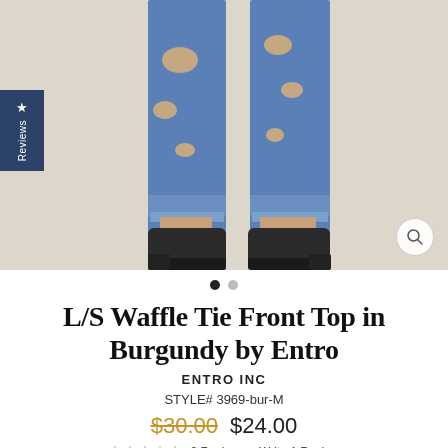[Figure (photo): Product photo showing a model wearing distressed blue jeans rolled at the ankles with dark ankle boots, against a beige background. A 'Reviews' tab is visible on the left side and a zoom/search button is visible in the bottom right corner.]
L/S Waffle Tie Front Top in Burgundy by Entro
ENTRO INC
STYLE# 3969-bur-M
$30.00  $24.00
0 Review  Write A Review